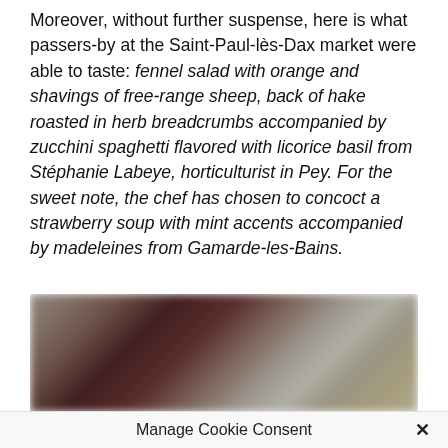Moreover, without further suspense, here is what passers-by at the Saint-Paul-lès-Dax market were able to taste: fennel salad with orange and shavings of free-range sheep, back of hake roasted in herb breadcrumbs accompanied by zucchini spaghetti flavored with licorice basil from Stéphanie Labeye, horticulturist in Pey. For the sweet note, the chef has chosen to concoct a strawberry soup with mint accents accompanied by madeleines from Gamarde-les-Bains.
[Figure (photo): A blurred photograph showing what appears to be food items including a dark round object (possibly a soup or dessert) and lighter colored items, consistent with the dishes described in the text above.]
Manage Cookie Consent ✕